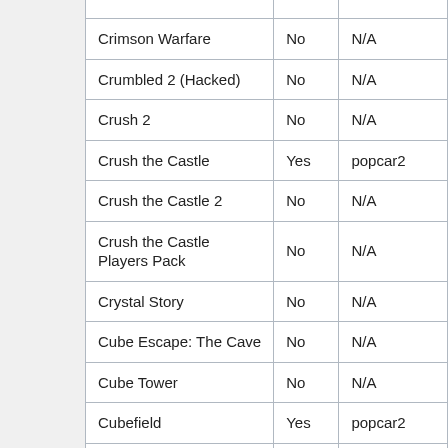| Game | Available | User |
| --- | --- | --- |
| Crimson Warfare | No | N/A |
| Crumbled 2 (Hacked) | No | N/A |
| Crush 2 | No | N/A |
| Crush the Castle | Yes | popcar2 |
| Crush the Castle 2 | No | N/A |
| Crush the Castle Players Pack | No | N/A |
| Crystal Story | No | N/A |
| Cube Escape: The Cave | No | N/A |
| Cube Tower | No | N/A |
| Cubefield | Yes | popcar2 |
| Curse of the Red |  |  |